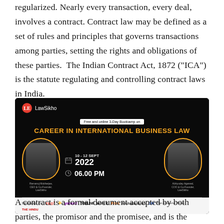regularized. Nearly every transaction, every deal, involves a contract. Contract law may be defined as a set of rules and principles that governs transactions among parties, setting the rights and obligations of these parties. The Indian Contract Act, 1872 (“ICA”) is the statute regulating and controlling contract laws in India.
[Figure (other): LawSikho advertisement banner for a Free and online 3-Day Bootcamp on Career in International Business Law, scheduled 10-12 Sept 2022 at 06.00 PM, featuring two speakers. Featured in TEDx, Yahoo, Tribune, Wire, Print, Hindustan Times, DH, The Economic Times, The Hindu.]
A contract is a formal document accepted by both parties, the promisor and the promisee, and is the foundation stone